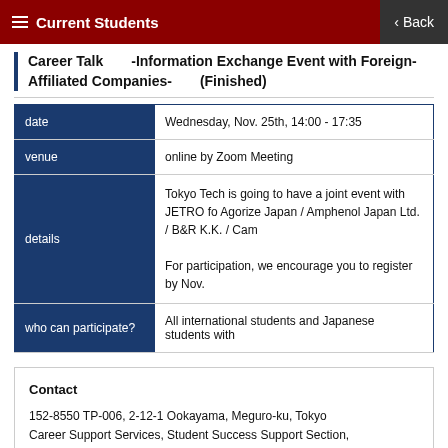Current Students   Back
Career Talk    -Information Exchange Event with Foreign-Affiliated Companies-    (Finished)
| field | value |
| --- | --- |
| date | Wednesday, Nov. 25th, 14:00 - 17:35 |
| venue | online by Zoom Meeting |
| details | Tokyo Tech is going to have a joint event with JETRO fo Agorize Japan / Amphenol Japan Ltd. / B&R K.K. / Cam

For participation, we encourage you to register by Nov. |
| who can participate? | All international students and Japanese students with |
Contact
152-8550 TP-006, 2-12-1 Ookayama, Meguro-ku, Tokyo
Career Support Services, Student Success Support Section,
Student Support Center, Tokyo Institute of Technology
Email career2@jim.titech.ac.jp
Tel 03-5734-3012    FAX 03-5734-3240